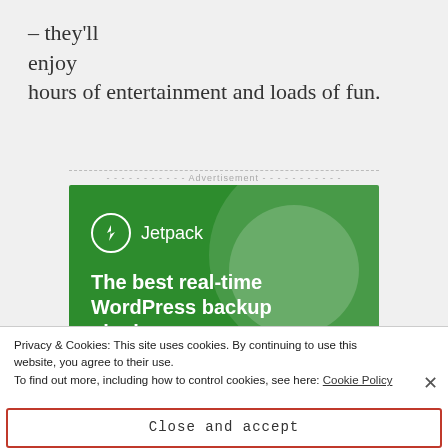– they'll enjoy hours of entertainment and loads of fun.
[Figure (screenshot): Jetpack advertisement banner with green background showing 'The best real-time WordPress backup plugin' with a 'Back up your site' button and Jetpack logo]
Privacy & Cookies: This site uses cookies. By continuing to use this website, you agree to their use. To find out more, including how to control cookies, see here: Cookie Policy
Close and accept